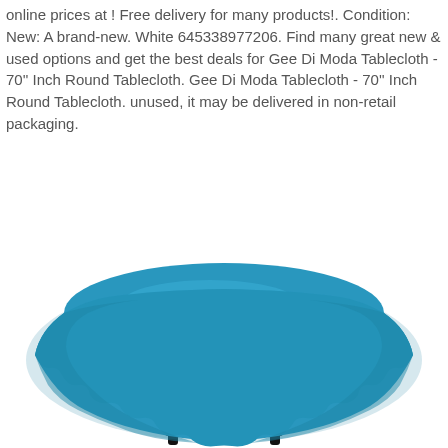online prices at ! Free delivery for many products!. Condition:  New: A brand-new. White 645338977206. Find many great new & used options and get the best deals for Gee Di Moda Tablecloth - 70'' Inch Round Tablecloth. Gee Di Moda Tablecloth - 70'' Inch Round Tablecloth. unused, it may be delivered in non-retail packaging.
[Figure (photo): A teal/turquoise round tablecloth draped over a round table with black metal legs, shown on a white background.]